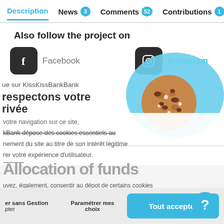Description | News 3 | Comments 52 | Contributions 1…
Also follow the project on
Facebook | Instagram
ue sur KissKissBankBank
respectons votre
rivée
www.gaze-magazine.com
[Figure (illustration): Cookie consent popup with a cookie illustration on a blue blob background, overlaid on a KissKissBankBank project page]
Allocation of funds
Gestion | Paramétrer mes choix | Tout accepter